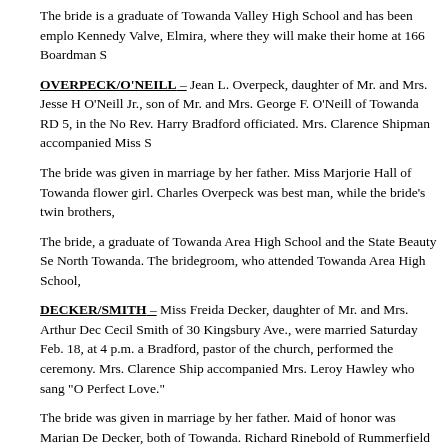The bride is a graduate of Towanda Valley High School and has been employed at Kennedy Valve, Elmira, where they will make their home at 166 Boardman S...
OVERPECK/O'NEILL – Jean L. Overpeck, daughter of Mr. and Mrs. Jesse H... O'Neill Jr., son of Mr. and Mrs. George F. O'Neill of Towanda RD 5, in the No... Rev. Harry Bradford officiated. Mrs. Clarence Shipman accompanied Miss S...
The bride was given in marriage by her father. Miss Marjorie Hall of Towanda... flower girl. Charles Overpeck was best man, while the bride's twin brothers,...
The bride, a graduate of Towanda Area High School and the State Beauty Se... North Towanda. The bridegroom, who attended Towanda Area High School,...
DECKER/SMITH – Miss Freida Decker, daughter of Mr. and Mrs. Arthur Dec... Cecil Smith of 30 Kingsbury Ave., were married Saturday Feb. 18, at 4 p.m.... Bradford, pastor of the church, performed the ceremony. Mrs. Clarence Ship... accompanied Mrs. Leroy Hawley who sang "O Perfect Love."
The bride was given in marriage by her father. Maid of honor was Marian De... Decker, both of Towanda. Richard Rinebold of Rummerfield was the best ma... Wygrala of Laceyville.
The newlyweds will make their home at 30 Kingsbury Ave.
STRICKLAND/DUNLAP -- The First Methodist Church of Towanda was the s... Miss Sandra Jean Strickland, daughter of Mr. and Mrs. Stephen C. Strickla... Dunlap, son of Mr. and Mrs. Forest Dunlap of Mehoopany. The Rev. Edgar W... ceremony. Mrs. A. W. Kelly, church organist, played traditional wedding musi... bride's brother, who sang.
The bride was given in marriage by her father. Miss Cherie Ann Strickland, s...